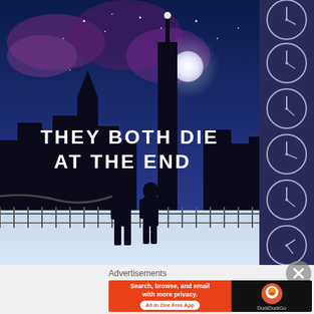[Figure (illustration): Book cover of 'They Both Die at the End' showing two silhouetted figures standing by a railing with a city skyline and moon at night under a blue sky, with a strip of clock icons on the right side showing different times]
Advertisements
[Figure (screenshot): DuckDuckGo advertisement banner: 'Search, browse, and email with more privacy. All in One Free App' on orange background with DuckDuckGo logo on dark background]